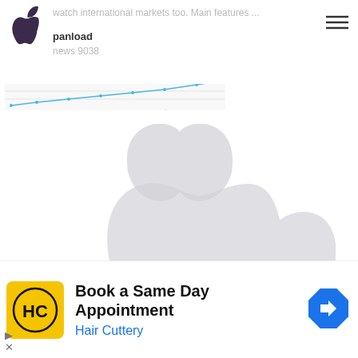panload | watch international markets too. Main features ... news 9038
[Figure (screenshot): Small thumbnail line chart showing stock trend data]
[Figure (logo): Large faded Apple logo watermark in center of page]
[Figure (other): Chevron/down-arrow collapse button]
Book a Same Day Appointment
Hair Cuttery